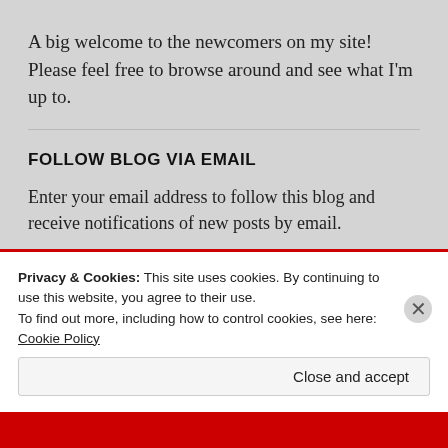A big welcome to the newcomers on my site! Please feel free to browse around and see what I'm up to.
FOLLOW BLOG VIA EMAIL
Enter your email address to follow this blog and receive notifications of new posts by email.
Enter your email address
Privacy & Cookies: This site uses cookies. By continuing to use this website, you agree to their use.
To find out more, including how to control cookies, see here: Cookie Policy
Close and accept